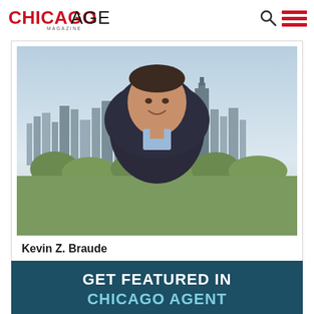Chicago Agent Magazine
[Figure (photo): Professional headshot of Kevin Z. Braude, a middle-aged man in a dark suit with blue shirt, smiling, with Chicago skyline in background]
Kevin Z. Braude
[Figure (infographic): Dark teal advertisement banner with text 'GET FEATURED IN CHICAGO AGENT']